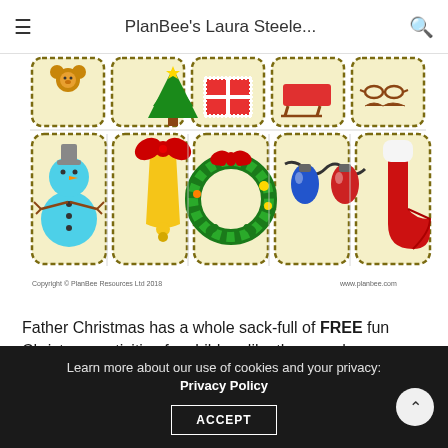PlanBee's Laura Steele...
[Figure (illustration): Christmas activity cards grid showing two rows of five illustrated cards each on yellow/cream backgrounds with green dashed borders. Bottom row shows: snowman, bell with red bow, Christmas wreath, Christmas lights (blue and red bulbs), red stocking. Partial top row visible with: teddy bear, Christmas tree, wrapped present, sled, mustache/glasses. Copyright notice at bottom: 'Copyright © PlanBee Resources Ltd 2018' and 'www.planbee.com']
Father Christmas has a whole sack-full of FREE fun Christmas activities for children like the one shown above. You can download them from here.
You can read more festive-themed news and features here.
Learn more about our use of cookies and your privacy: Privacy Policy